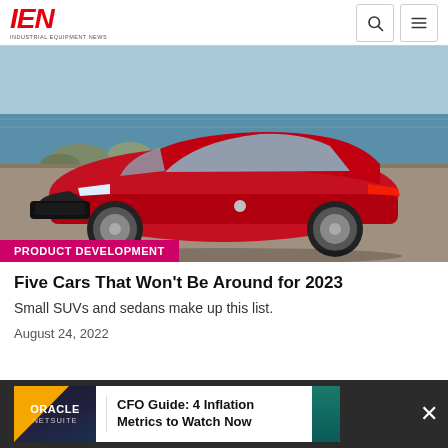IEN — INDUSTRIAL EQUIPMENT NEWS
[Figure (photo): Red Toyota Avalon sedan parked near a waterfront with rocks in background. PRODUCT DEVELOPMENT category badge overlaid at bottom.]
Five Cars That Won't Be Around for 2023
Small SUVs and sedans make up this list.
August 24, 2022
[Figure (other): Oracle NetSuite advertisement banner: CFO Guide: 4 Inflation Metrics to Watch Now]